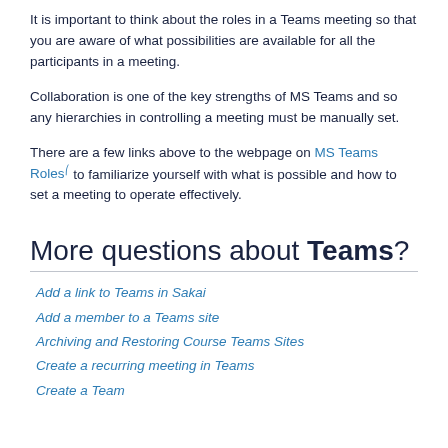It is important to think about the roles in a Teams meeting so that you are aware of what possibilities are available for all the participants in a meeting.
Collaboration is one of the key strengths of MS Teams and so any hierarchies in controlling a meeting must be manually set.
There are a few links above to the webpage on MS Teams Roles to familiarize yourself with what is possible and how to set a meeting to operate effectively.
More questions about Teams?
Add a link to Teams in Sakai
Add a member to a Teams site
Archiving and Restoring Course Teams Sites
Create a recurring meeting in Teams
Create a Team